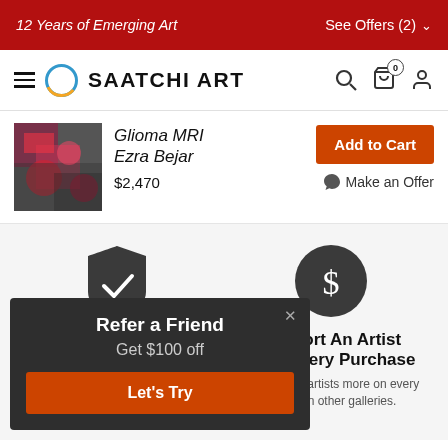12 Years of Emerging Art | See Offers (2)
[Figure (logo): Saatchi Art logo with navigation icons (search, cart, user)]
[Figure (photo): Artwork thumbnail - colorful abstract painting]
Glioma MRI
Ezra Bejar
$2,470
Add to Cart
Make an Offer
[Figure (illustration): Shield with checkmark icon - dark grey circle/shield]
Satisfaction Guaranteed
We offer a 14-day money-back guarantee to allow you to buy with complete confidence.
[Figure (illustration): Dollar sign icon in dark grey circle]
Support An Artist With Every Purchase
We pay our artists more on every sale than other galleries.
Refer a Friend
Get $100 off
Let's Try